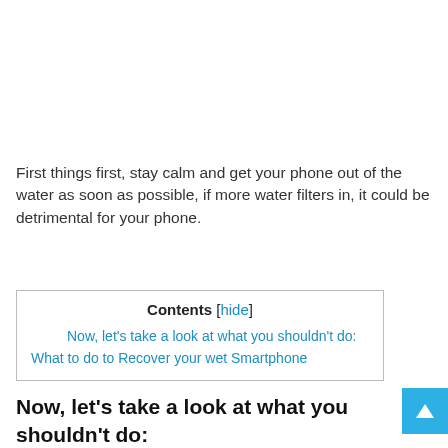First things first, stay calm and get your phone out of the water as soon as possible, if more water filters in, it could be detrimental for your phone.
| Contents [hide] |
| Now, let's take a look at what you shouldn't do: |
| What to do to Recover your wet Smartphone |
Now, let's take a look at what you shouldn't do: